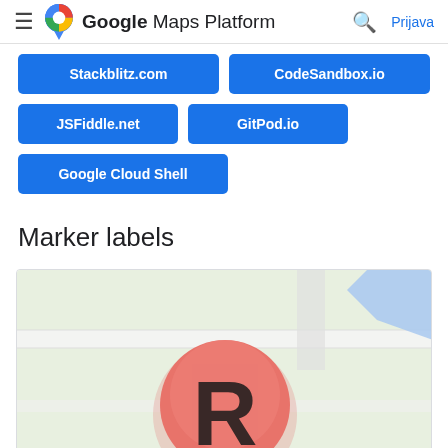Google Maps Platform — Prijava
Stackblitz.com
CodeSandbox.io
JSFiddle.net
GitPod.io
Google Cloud Shell
Marker labels
[Figure (screenshot): A Google Maps screenshot showing a close-up map view with a large red/salmon circular marker bearing the letter R in the center.]